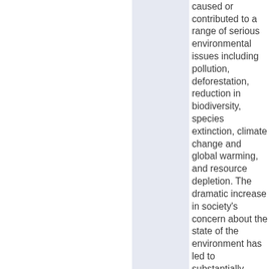caused or contributed to a range of serious environmental issues including pollution, deforestation, reduction in biodiversity, species extinction, climate change and global warming, and resource depletion. The dramatic increase in society's concern about the state of the environment has led to substantially greater pressure on business to respond to these challenges. The course is designed to provide students with the knowledge to